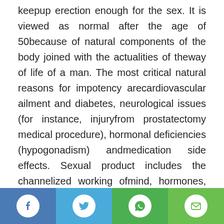keepup erection enough for the sex. It is viewed as normal after the age of 50because of natural components of the body joined with the actualities of theway of life of a man. The most critical natural reasons for impotency arecardiovascular ailment and diabetes, neurological issues (for instance, injuryfrom prostatectomy medical procedure), hormonal deficiencies (hypogonadism) andmedication side effects. Sexual product includes the channelized working ofmind, hormones, veins, nerves, and muscles. It is an unpredictable procedureconsolidating these at a specific time. The drug used for the active ingredientin Vilitra is vardenafil 20mg . It is marginally unique in relationto alternate
[Figure (infographic): Social share bar with four buttons: Facebook (blue), Twitter (light blue), WhatsApp (green), Email (light green)]